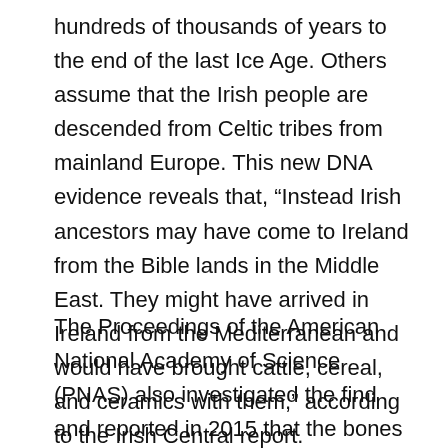hundreds of thousands of years to the end of the last Ice Age. Others assume that the Irish people are descended from Celtic tribes from mainland Europe. This new DNA evidence reveals that, “Instead Irish ancestors may have come to Ireland from the Bible lands in the Middle East. They might have arrived in Ireland from the Mediterranean and would have brought cattle, cereal, and ceramics with them,” according to the Irish Central report.
The Proceedings of the American National Academy of Science (PNAS) also investigated the find and reported in 2015 that the bones “strikingly resembled those of contemporary Irish, Scottish, and Welsh people.” A retired archaeology professor at the birthplace and University of Oxford said